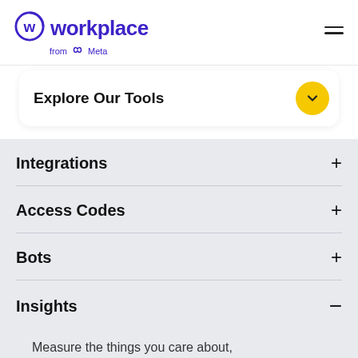[Figure (logo): Workplace from Meta logo with circular W icon in indigo/purple color]
Explore Our Tools
Integrations +
Access Codes +
Bots +
Insights −
Measure the things you care about,